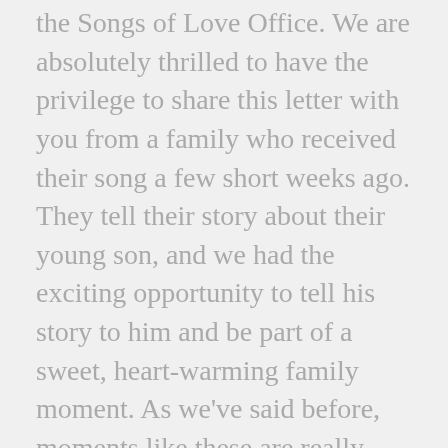the Songs of Love Office. We are absolutely thrilled to have the privilege to share this letter with you from a family who received their song a few short weeks ago. They tell their story about their young son, and we had the exciting opportunity to tell his story to him and be part of a sweet, heart-warming family moment. As we've said before, moments like these are really possible because of people like you! Your car donation and cash donations have supported us over the years. Please consider spreading the word about our charity!